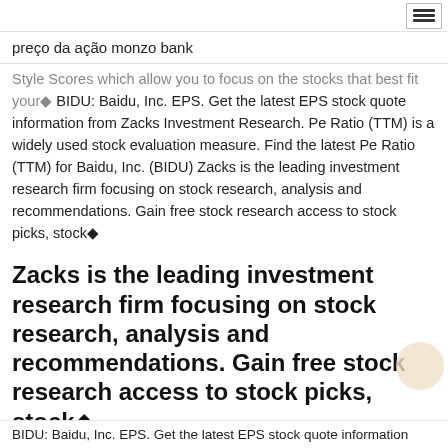preço da ação monzo bank
Style Scores which allow you to focus on the stocks that best fit your◆ BIDU: Baidu, Inc. EPS. Get the latest EPS stock quote information from Zacks Investment Research. Pe Ratio (TTM) is a widely used stock evaluation measure. Find the latest Pe Ratio (TTM) for Baidu, Inc. (BIDU) Zacks is the leading investment research firm focusing on stock research, analysis and recommendations. Gain free stock research access to stock picks, stock◆
Zacks is the leading investment research firm focusing on stock research, analysis and recommendations. Gain free stock research access to stock picks, stock◆
BIDU: Baidu, Inc. EPS. Get the latest EPS stock quote information